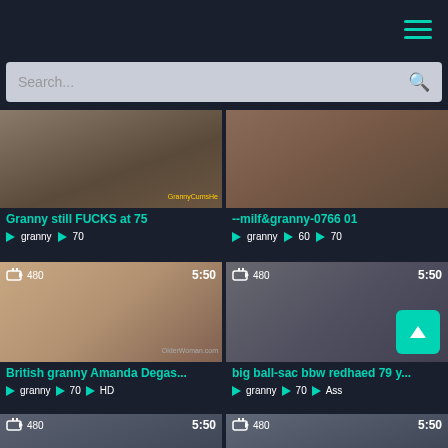Navigation header with hamburger menu
Search...
[Figure (screenshot): Video thumbnail for 'Granny still FUCKS at 75' with watermark GrannyCumsHe]
Granny still FUCKS at 75
granny  70
[Figure (screenshot): Video thumbnail for '--milf&granny-0766 01']
--milf&granny-0766 01
granny  60  70
[Figure (screenshot): Video thumbnail for 'British granny Amanda Degas...' with watermark OlderWoman.com, 480p, 5:50]
British granny Amanda Degas...
granny  70  HD
[Figure (screenshot): Video thumbnail for 'big ball-sac bbw redhaed 79 y...' 480p, 5:50]
big ball-sac bbw redhaed 79 y...
granny  70  Ass
[Figure (screenshot): Bottom left partial thumbnail with 480 badge and 5:50 duration]
[Figure (screenshot): Bottom right partial thumbnail with 480 badge and 5:50 duration]